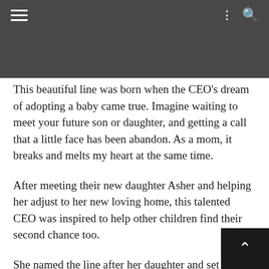[Figure (photo): Dark navigation bar with hamburger menu icon on the left and search/more icons on the right, overlaid on a dark textured background image]
This beautiful line was born when the CEO's dream of adopting a baby came true. Imagine waiting to meet your future son or daughter, and getting a call that a little face has been abandon. As a mom, it breaks and melts my heart at the same time.
After meeting their new daughter Asher and helping her adjust to her new loving home, this talented CEO was inspired to help other children find their second chance too.
She named the line after her daughter and set out to create a collection that would make any woman feel powerful and beautiful while a portion of the proce would go to helping the hundreds of babies abandoned each month in Africa.